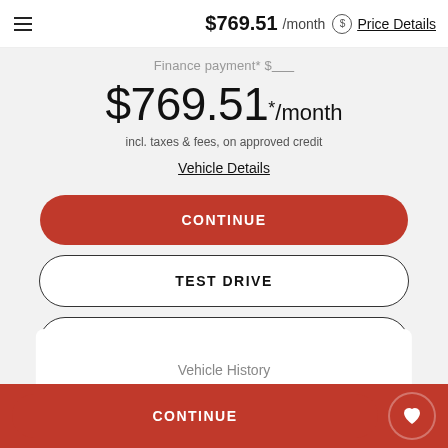$769.51 /month Price Details
Finance payment* $769.51* /month incl. taxes & fees, on approved credit
Vehicle Details
CONTINUE
TEST DRIVE
SAVE
Vehicle History
CONTINUE